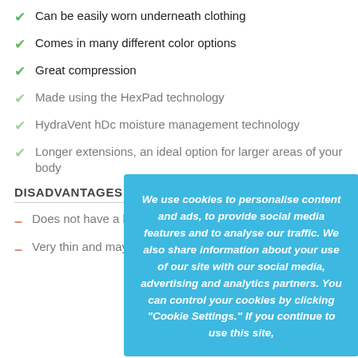Can be easily worn underneath clothing
Comes in many different color options
Great compression
Made using the HexPad technology
HydraVent hDc moisture management technology
Longer extensions, an ideal option for larger areas of your body
DISADVANTAGES
Does not have a lot of padding
Very thin and may not provide sufficient pressure
[Figure (other): Cookie consent overlay popup with text: We use cookies to personalise content and ads, to provide social media features and to analyse our traffic. We also share information about your use of our site with our social media, advertising and analytics partners. You can control your cookies by clicking "Cookie Settings." If you continue to use this site,]
[Figure (other): Back to top button (grey square with upward arrow)]